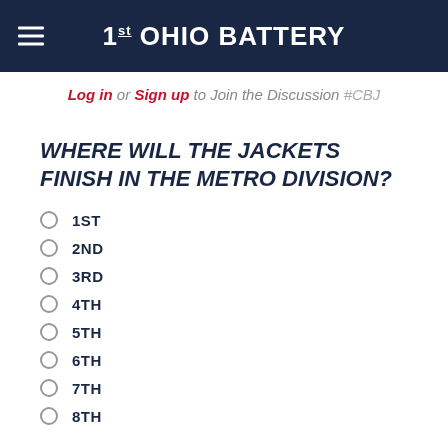1st OHIO BATTERY
Log in or Sign up to Join the Discussion #CBJ
WHERE WILL THE JACKETS FINISH IN THE METRO DIVISION?
1ST
2ND
3RD
4TH
5TH
6TH
7TH
8TH